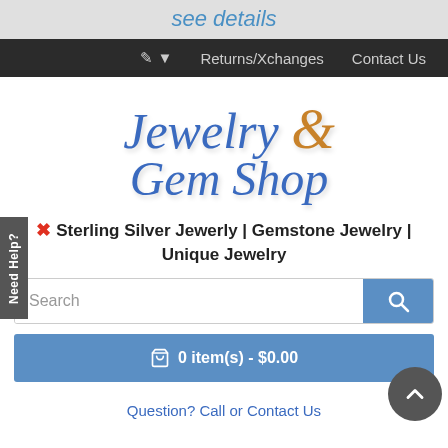see details
Returns/Xchanges  Contact Us
[Figure (logo): Jewelry & Gem Shop logo with blue italic serif text and gold ampersand]
Sterling Silver Jewerly | Gemstone Jewelry | Unique Jewelry
Search
0 item(s) - $0.00
Question? Call or Contact Us